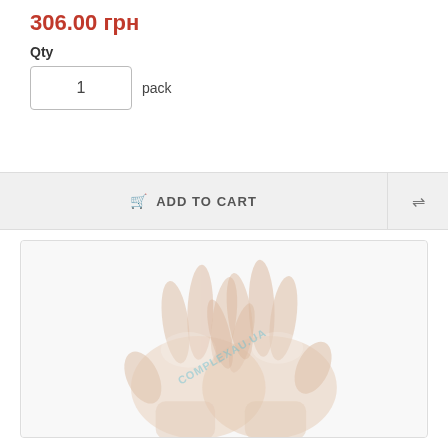306.00 грн
Qty
1  pack
ADD TO CART
[Figure (photo): Two hands wearing transparent vinyl/latex disposable gloves, shown against a white background with a watermark overlay.]